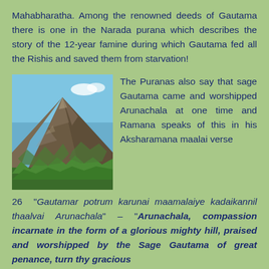Mahabharatha. Among the renowned deeds of Gautama there is one in the Narada purana which describes the story of the 12-year famine during which Gautama fed all the Rishis and saved them from starvation!
[Figure (photo): A photograph of Arunachala hill with trees in the foreground and blue sky above.]
The Puranas also say that sage Gautama came and worshipped Arunachala at one time and Ramana speaks of this in his Aksharamana maalai verse 26 "Gautamar potrum karunai maamalaiye kadaikannil thaalvai Arunachala" – "Arunachala, compassion incarnate in the form of a glorious mighty hill, praised and worshipped by the Sage Gautama of great penance, turn thy gracious glance...